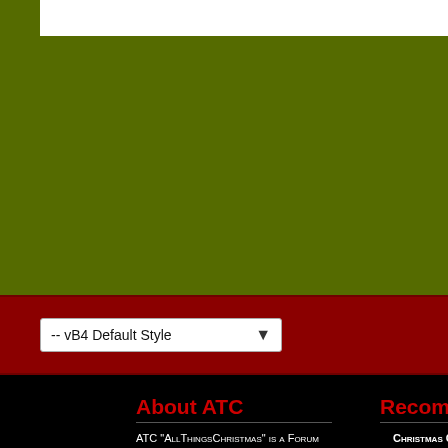[Figure (screenshot): Olive/dark-green background header area with a white bar at the top]
[Figure (screenshot): Dark red bar with a dropdown selector showing '-- vB4 Default Style' with a dropdown arrow]
About ATC
ATC "AllThingsChristmas" is a Forum Devoted to everything about Christmas, please enjoy our Forum & feel free to chat about the greatest day of the year.
Recommended Li...
Christmas Quotes
Christmas Decorating
Christmas Songs for K...
Christmas Gifts & Pr...